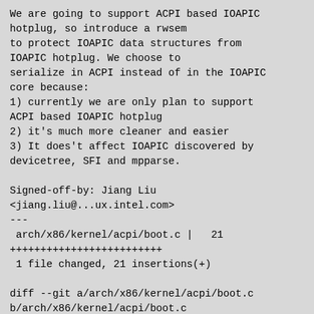We are going to support ACPI based IOAPIC hotplug, so introduce a rwsem to protect IOAPIC data structures from IOAPIC hotplug. We choose to serialize in ACPI instead of in the IOAPIC core because:
1) currently we are only plan to support ACPI based IOAPIC hotplug
2) it's much more cleaner and easier
3) It does't affect IOAPIC discovered by devicetree, SFI and mpparse.

Signed-off-by: Jiang Liu
<jiang.liu@...ux.intel.com>
---
 arch/x86/kernel/acpi/boot.c |   21
+++++++++++++++++++++++
 1 file changed, 21 insertions(+)

diff --git a/arch/x86/kernel/acpi/boot.c b/arch/x86/kernel/acpi/boot.c
index e077c080a519..96d775580821 100644
--- a/arch/x86/kernel/acpi/boot.c
+++ b/arch/x86/kernel/acpi/boot.c